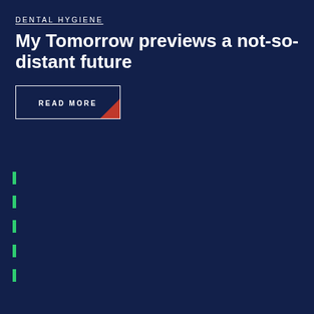DENTAL HYGIENE
My Tomorrow previews a not-so-distant future
READ MORE
[Figure (photo): Three professionals standing outside on a city sidewalk in front of a 'community arts center' sign. Left: a man in a dark suit with tie. Center: a woman in a navy dress with long blonde hair. Right: a woman with dark hair and glasses wearing a black polka-dot top. Green trees visible in background along a city street.]